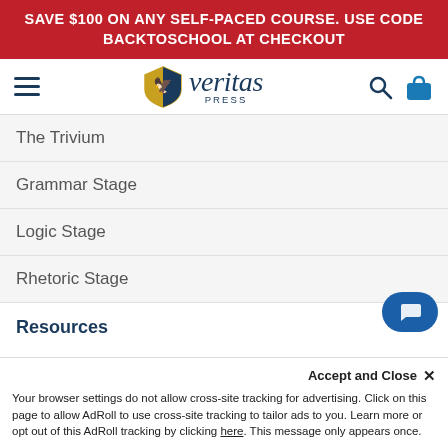SAVE $100 ON ANY SELF-PACED COURSE. USE CODE BACKTOSCHOOL AT CHECKOUT
[Figure (logo): Veritas Press logo with shield icon and italic veritas text]
The Trivium
Grammar Stage
Logic Stage
Rhetoric Stage
Resources
Free Helps
Request Catalog
Online Catalog
Accept and Close ×
Your browser settings do not allow cross-site tracking for advertising. Click on this page to allow AdRoll to use cross-site tracking to tailor ads to you. Learn more or opt out of this AdRoll tracking by clicking here. This message only appears once.